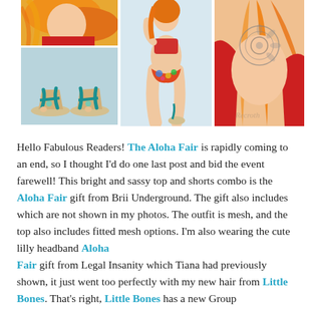[Figure (photo): Grid of four illustrated images: top-left shows a girl with red/orange hair, bottom-left shows teal sandals/heels, center shows a girl in a floral bikini kneeling, right shows a close-up of a tattooed chest with red outfit and orange hair.]
Hello Fabulous Readers! The Aloha Fair is rapidly coming to an end, so I thought I'd do one last post and bid the event farewell! This bright and sassy top and shorts combo is the Aloha Fair gift from Brii Underground. The gift also includes which are not shown in my photos. The outfit is mesh, and the top also includes fitted mesh options. I'm also wearing the cute lilly headband Aloha Fair gift from Legal Insanity which Tiana had previously shown, it just went too perfectly with my new hair from Little Bones. That's right, Little Bones has a new Group